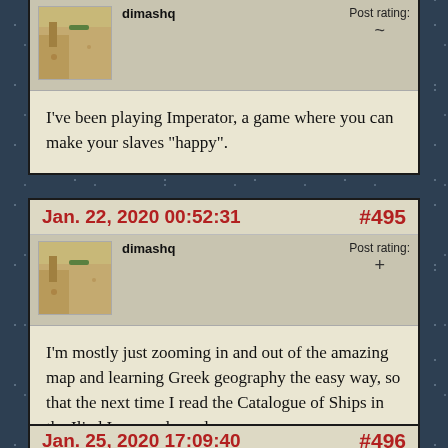I've been playing Imperator, a game where you can make your slaves “happy”.
Jan. 22, 2020 00:52:31 #495
I'm mostly just zooming in and out of the amazing map and learning Greek geography the easy way, so that the next time I read the Catalogue of Ships in the Iliad I can nod sagely
Jan. 25, 2020 17:09:40 #496